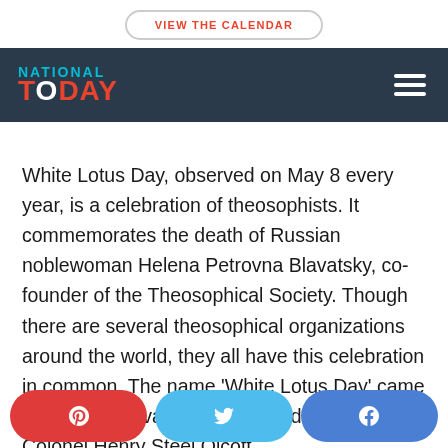VIEW THE CALENDAR
NATIONAL TODAY
White Lotus Day, observed on May 8 every year, is a celebration of theosophists. It commemorates the death of Russian noblewoman Helena Petrovna Blavatsky, co-founder of the Theosophical Society. Though there are several theosophical organizations around the world, they all have this celebration in common. The name ‘White Lotus Day’ came from an observation by co-founder American Colonel Henry Steel Olcott that, one year after Blavatsky’s passing, white